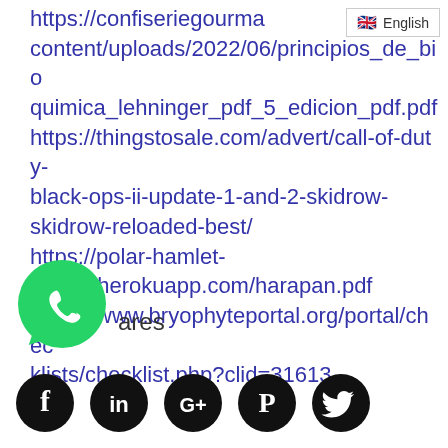English
https://confiseriegourma content/uploads/2022/06/principios_de_bioquimica_lehninger_pdf_5_edicion_pdf.pdf https://thingstosale.com/advert/call-of-duty-black-ops-ii-update-1-and-2-skidrow-skidrow-reloaded-best/ https://polar-hamlet-68892.herokuapp.com/harapan.pdf https://www.bryophyteportal.org/portal/checklists/checklist.php?clid=31613
[Figure (logo): WhatsApp green logo icon]
ares
[Figure (logo): Social media sharing icons: Facebook, LinkedIn, Google+, Pinterest, Twitter — black circle buttons]